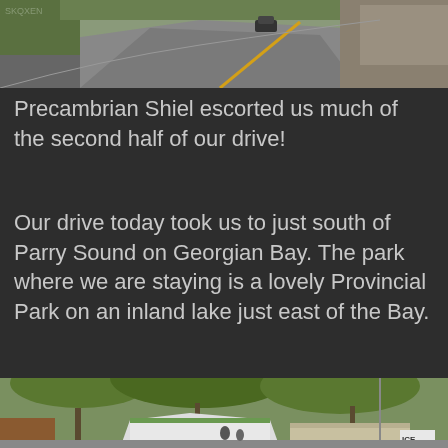[Figure (photo): A curved two-lane road with yellow center line, rocky hillside on the right, trees, and a car in the distance. Precambrian Shield landscape.]
Precambrian Shiel escorted us much of the second half of our drive!
Our drive today took us to just south of Parry Sound on Georgian Bay. The park where we are staying is a lovely Provincial Park on an inland lake just east of the Bay.
[Figure (photo): A provincial park entrance area with a white tent-roofed building, trees in the background, and an ICE sign visible on the right side.]